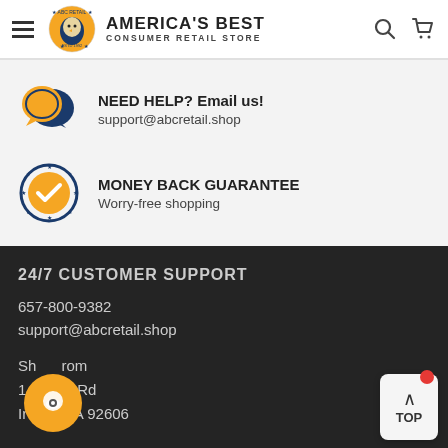AMERICA'S BEST CONSUMER RETAIL STORE
NEED HELP? Email us!
support@abcretail.shop
MONEY BACK GUARANTEE
Worry-free shopping
24/7 CUSTOMER SUPPORT
657-800-9382
support@abcretail.shop
Shop from
14... ord Rd
Irvine, CA 92606